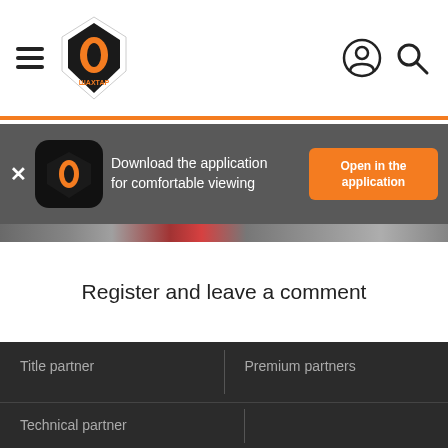[Figure (logo): Shakhtar Donetsk website header with hamburger menu icon, club logo/crest, user icon, and search icon]
[Figure (screenshot): App download banner: Shakhtar app icon, text 'Download the application for comfortable viewing', orange 'Open in the application' button, and close X button]
[Figure (screenshot): Partial image strip showing news/media thumbnails]
Register and leave a comment
Title partner
Premium partners
Technical partner